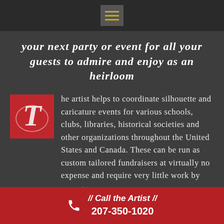[Figure (logo): Dark top navigation bar with hamburger menu icon (three yellow horizontal lines on grey square button)]
your next party or event for all your guests to admire and enjoy as an heirloom
[Figure (logo): Red square logo with white cursive letter T]
he artist helps to coordinate silhouette and caricature events for various schools, clubs, libraries, historical societies and other organizations throughout the United States and Canada. These can be run as custom tailored fundraisers at virtually no expense and require very little work by your group.
// Call the Artist // 207-350-1020